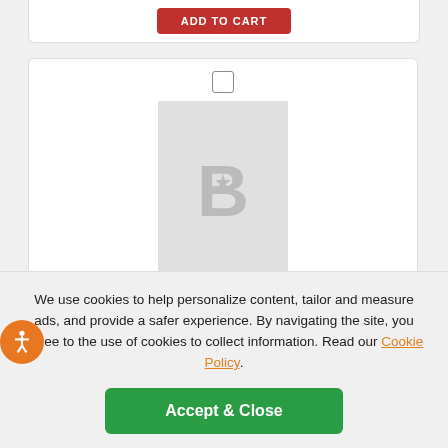[Figure (screenshot): Add to Cart button (red) at top of page stub]
[Figure (illustration): Placeholder card image with stylized B logo on gray background]
2017 Topps Heritage Bright Yellow Back #458 Ian Desmond
Team: Colorado Rockies BB
25
NM-MT
1
We use cookies to help personalize content, tailor and measure ads, and provide a safer experience. By navigating the site, you agree to the use of cookies to collect information. Read our Cookie Policy.
Accept & Close